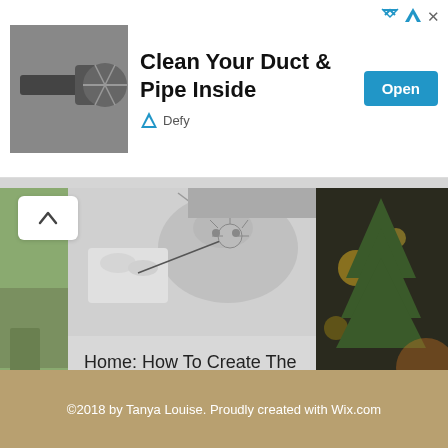[Figure (screenshot): Advertisement banner with duct cleaning machine image, title 'Clean Your Duct & Pipe Inside', brand logo Defy, and Open button]
[Figure (photo): Partial left image showing plant/garden content]
[Figure (photo): Center card image: black and white photo of hands holding a dandelion/flower near an animal]
Home: How To Create The Perfect Garden...
50 views, 1 like
[Figure (photo): Right partial image showing Christmas tree with bokeh lights]
©2018 by Tanya Louise. Proudly created with Wix.com